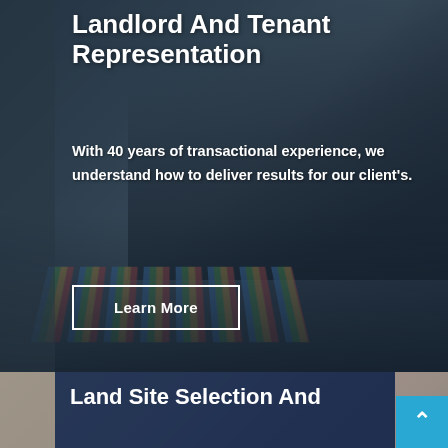[Figure (photo): Hero background image showing blurred silhouettes of businesspeople shaking hands, with charts and tablets on a conference table in the foreground. Dark blue-gray overlay applied.]
Landlord And Tenant Representation
With 40 years of transactional experience, we understand how to deliver results for our client's.
Learn More
[Figure (photo): Partially visible background image for the second section, showing a bokeh/blurred outdoor or architectural scene.]
Land Site Selection And